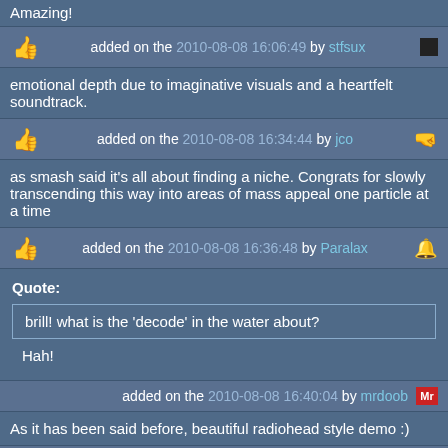Amazing!
added on the 2010-08-08 16:06:49 by stfsux
emotional depth due to imaginative visuals and a heartfelt soundtrack.
added on the 2010-08-08 16:34:44 by jco
as smash said it's all about finding a niche. Congrats for slowly transcending this way into areas of mass appeal one particle at a time
added on the 2010-08-08 16:36:48 by Paralax
Quote:
brill! what is the 'decode' in the water about?

Hah!
added on the 2010-08-08 16:40:04 by mrdoob
As it has been said before, beautiful radiohead style demo :)